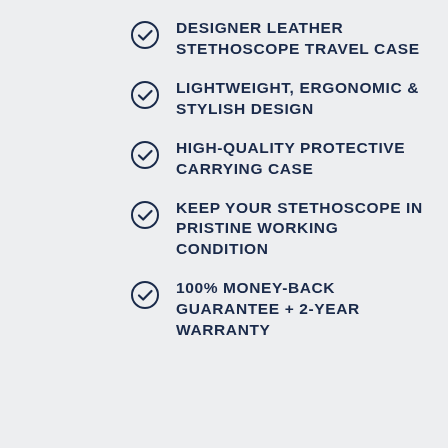DESIGNER LEATHER STETHOSCOPE TRAVEL CASE
LIGHTWEIGHT, ERGONOMIC & STYLISH DESIGN
HIGH-QUALITY PROTECTIVE CARRYING CASE
KEEP YOUR STETHOSCOPE IN PRISTINE WORKING CONDITION
100% MONEY-BACK GUARANTEE + 2-YEAR WARRANTY